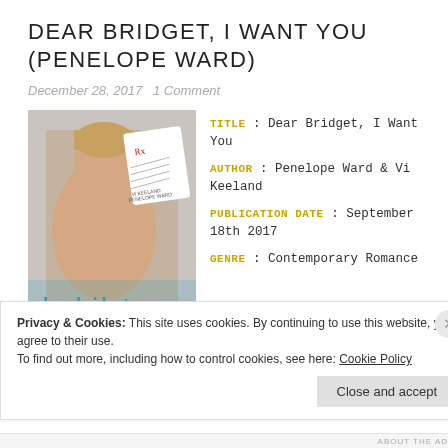DEAR BRIDGET, I WANT YOU (PENELOPE WARD)
December 28, 2017   1 Comment
[Figure (illustration): Book cover for 'Dear Bridget, I Want You' showing a shirtless male model with a prescription-style notepad overlay and cursive title text at bottom]
TITLE : Dear Bridget, I Want You
AUTHOR : Penelope Ward & Vi Keeland
PUBLICATION DATE : September 18th 2017
GENRE : Contemporary Romance
Privacy & Cookies: This site uses cookies. By continuing to use this website, you agree to their use.
To find out more, including how to control cookies, see here: Cookie Policy
Close and accept